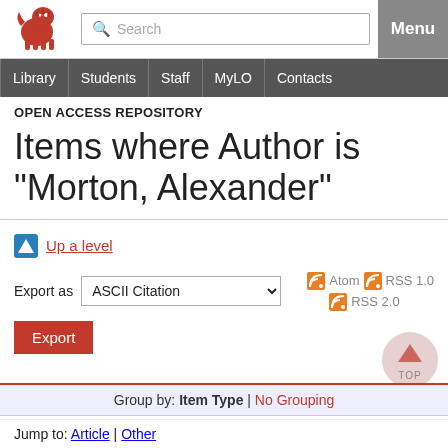[Figure (logo): University red lion logo]
Search | Menu | Library | Students | Staff | MyLO | Contacts
OPEN ACCESS REPOSITORY
Items where Author is "Morton, Alexander"
Up a level
Export as ASCII Citation | Atom | RSS 1.0 | RSS 2.0 | Export
Group by: Item Type | No Grouping
Jump to: Article | Other